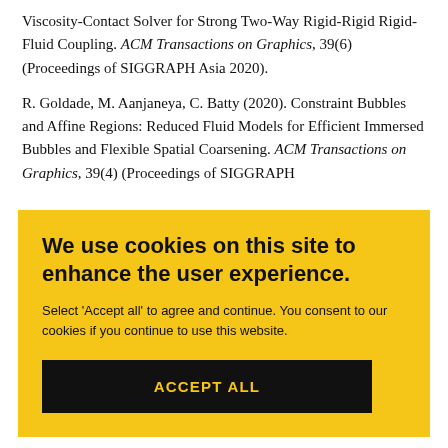Viscosity-Contact Solver for Strong Two-Way Rigid-Rigid Rigid-Fluid Coupling. ACM Transactions on Graphics, 39(6) (Proceedings of SIGGRAPH Asia 2020).
R. Goldade, M. Aanjaneya, C. Batty (2020). Constraint Bubbles and Affine Regions: Reduced Fluid Models for Efficient Immersed Bubbles and Flexible Spatial Coarsening. ACM Transactions on Graphics, 39(4) (Proceedings of SIGGRAPH...
[Figure (screenshot): Cookie consent banner with yellow background overlay. Contains bold heading 'We use cookies on this site to enhance the user experience.' followed by descriptive text and a black button labeled 'ACCEPT ALL'.]
Model for Coupling Strands with Shear-Dependent Liquid. ACM